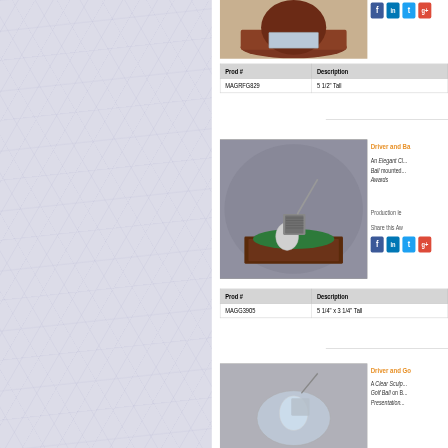[Figure (photo): Golf trophy on a wooden base with engraving plate, partially visible at top]
[Figure (other): Social media icons: Facebook, LinkedIn, Twitter, Google+]
| Prod # | Description |
| --- | --- |
| MAGRFG829 | 5 1/2" Tall |
Driver and Ba...
An Elegant Cl... Ball mounted... Awards
Production le...
Share this Aw...
[Figure (photo): Silver golf club driver head and golf ball on green felt pad on wood base]
[Figure (other): Social media icons: Facebook, LinkedIn, Twitter, Google+]
| Prod # | Description |
| --- | --- |
| MAGG3905 | 5 1/4" x 3 1/4" Tall |
Driver and Go...
A Clear Sculp... Golf Ball on B... Presentation...
[Figure (photo): Clear sculpted golf driver and ball on base, partially visible at bottom]